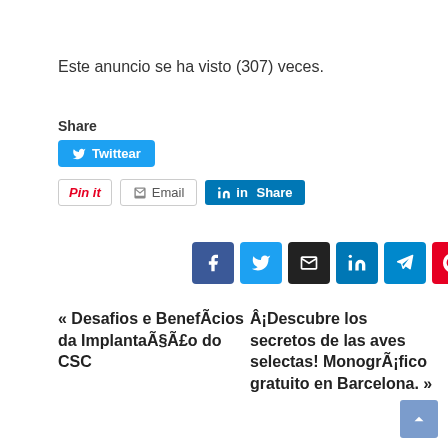Este anuncio se ha visto (307) veces.
[Figure (screenshot): Social sharing buttons: Share label, Twitter (Twittear), Pinterest (Pin it), Email, LinkedIn (Share), and a row of icon buttons for Facebook, Twitter, Email, LinkedIn, Telegram, Pinterest]
« Desafios e BenefÃcios da ImplantaÃ§Ã£o do CSC   Â¡Descubre los secretos de las aves selectas! MonogrÃ¡fico gratuito en Barcelona. »